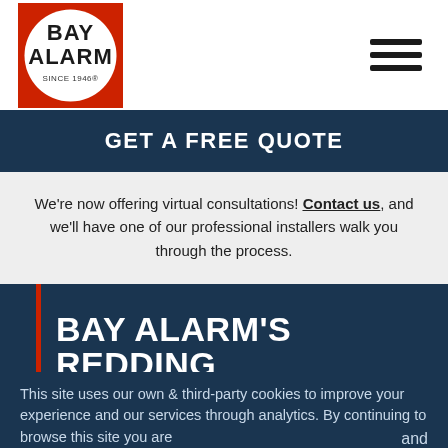[Figure (logo): Bay Alarm logo — red square with white circle, bold black text BAY ALARM, SINCE 1946]
[Figure (other): Hamburger menu icon — three horizontal black bars]
GET A FREE QUOTE
We're now offering virtual consultations! Contact us, and we'll have one of our professional installers walk you through the process.
BAY ALARM'S REDDING TEAM IS HERE TO MEET
This site uses our own & third-party cookies to improve your experience and our services through analytics. By continuing to browse this site you are and